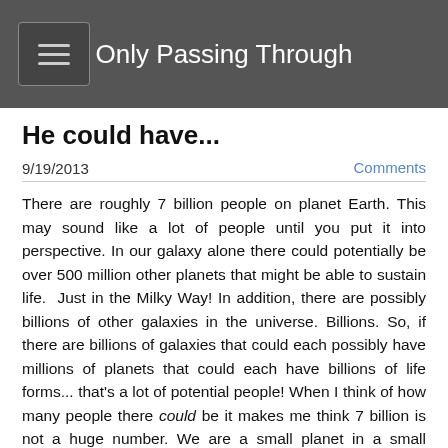Only Passing Through
He could have...
9/19/2013
Comments
There are roughly 7 billion people on planet Earth. This may sound like a lot of people until you put it into perspective. In our galaxy alone there could potentially be over 500 million other planets that might be able to sustain life.  Just in the Milky Way! In addition, there are possibly billions of other galaxies in the universe. Billions. So, if there are billions of galaxies that could each possibly have millions of planets that could each have billions of life forms... that's a lot of potential people! When I think of how many people there could be it makes me think 7 billion is not a huge number. We are a small planet in a small galaxy, compared to the rest of the universe. As far as we know we are the only human life in existence. Just us. A tiny grain of sand at the ocean. For some reason, God created a system that holds about 7 billion people at a time on one planet. Have you ever stopped to ponder why? If you are the creator of all and you can do more, why